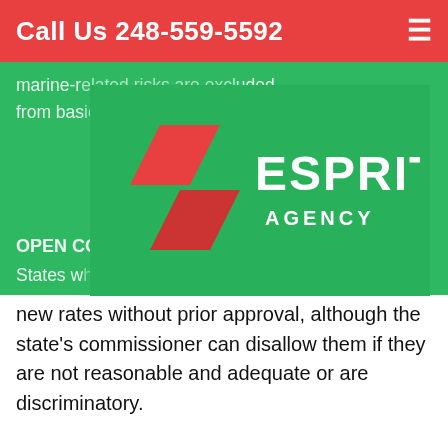Call Us 248-559-5592
marine-r[...] luded from bas[...] ght back.
[Figure (logo): Esprit Agency logo: red geometric shapes with text ESPRIT AGENCY on green background]
OPEN CO[...]
States w[...] can set new rates without prior approval, although the state's commissioner can disallow them if they are not reasonable and adequate or are discriminatory.
OPERATING EXPENSES
The cost of maintaining a business's property, includes insurance, property taxes, utilities and rent, but excludes income tax, depreciation and other financing expenses.
OPTIONS
Contracts that allow, but do not oblige, the buying or selling of property or assets at a